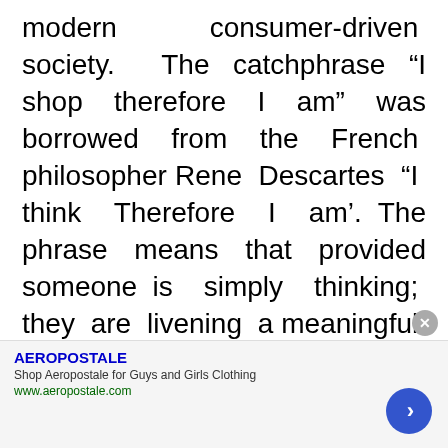modern consumer-driven society. The catchphrase “I shop therefore I am” was borrowed from the French philosopher Rene Descartes “I think Therefore I am’. The phrase means that provided someone is simply thinking; they are livening a meaningful existence, was sufficient proof that they did exist.

Kruger tries to imply with “I shop therefore I am” that the public is no longer defined
AEROPOSTALE
Shop Aeropostale for Guys and Girls Clothing
www.aeropostale.com